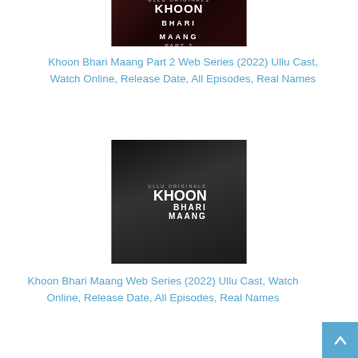[Figure (photo): Khoon Bhari Maang Part 2 promotional poster with title text, ULLU Originals branding, red and dark themed background]
Khoon Bhari Maang Part 2 Web Series (2022) Ullu Cast, Watch Online, Release Date, All Episodes, Real Names
[Figure (photo): Khoon Bhari Maang black and white promotional image showing a woman with ULLU Originals and Khoon Bhari Maang text overlay]
Khoon Bhari Maang Web Series (2022) Ullu Cast, Watch Online, Release Date, All Episodes, Real Names